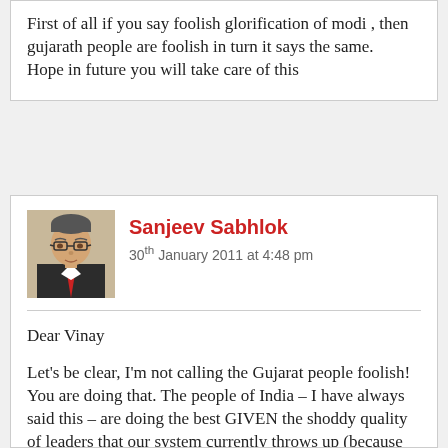First of all if you say foolish glorification of modi , then gujarath people are foolish in turn it says the same.
Hope in future you will take care of this
Sanjeev Sabhlok
30th January 2011 at 4:48 pm
Dear Vinay
Let's be clear, I'm not calling the Gujarat people foolish! You are doing that. The people of India – I have always said this – are doing the best GIVEN the shoddy quality of leaders that our system currently throws up (because all good poeple are driven away from politics by our law and